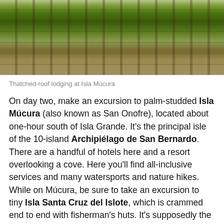[Figure (photo): Thatched-roof lodging at Isla Múcura — tropical setting with palm trees, white draped fabric over structures, lush green grass and foliage]
Thatched-roof lodging at Isla Múcura
On day two, make an excursion to palm-studded Isla Múcura (also known as San Onofre), located about one-hour south of Isla Grande. It's the principal isle of the 10-island Archipiélago de San Bernardo. There are a handful of hotels here and a resort overlooking a cove. Here you'll find all-inclusive services and many watersports and nature hikes. While on Múcura, be sure to take an excursion to tiny Isla Santa Cruz del Islote, which is crammed end to end with fisherman's huts. It's supposedly the most densely populated island in the world.
Create your custom-made trip to Colombia
Get Started